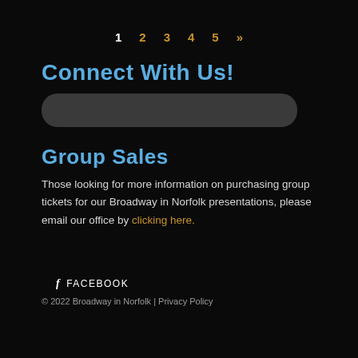1  2  3  4  5  »
Connect With Us!
Group Sales
Those looking for more information on purchasing group tickets for our Broadway in Norfolk presentations, please email our office by clicking here.
f FACEBOOK
© 2022 Broadway in Norfolk | Privacy Policy